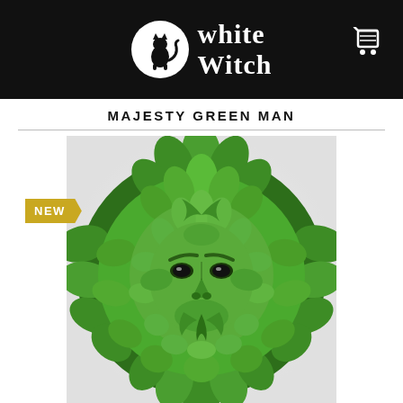White Witch
MAJESTY GREEN MAN
[Figure (photo): Circular green resin sculpture of the Green Man face surrounded by layered oak leaves, with a 'NEW' badge in gold/yellow on the lower left of the image area.]